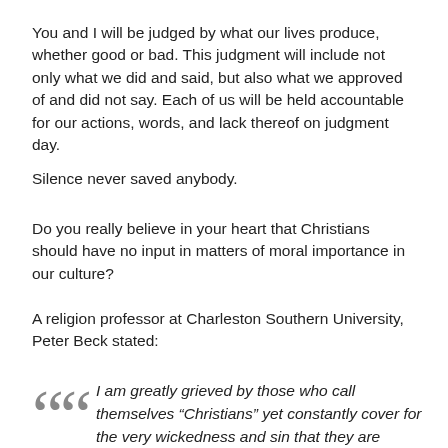You and I will be judged by what our lives produce, whether good or bad. This judgment will include not only what we did and said, but also what we approved of and did not say. Each of us will be held accountable for our actions, words, and lack thereof on judgment day.
Silence never saved anybody.
Do you really believe in your heart that Christians should have no input in matters of moral importance in our culture?
A religion professor at Charleston Southern University, Peter Beck stated:
I am greatly grieved by those who call themselves “Christians” yet constantly cover for the very wickedness and sin that they are supposed to shun and flee from. They embrace the very sinful people who have clearly transgressed God’s commandments, laws, precepts, directives, and